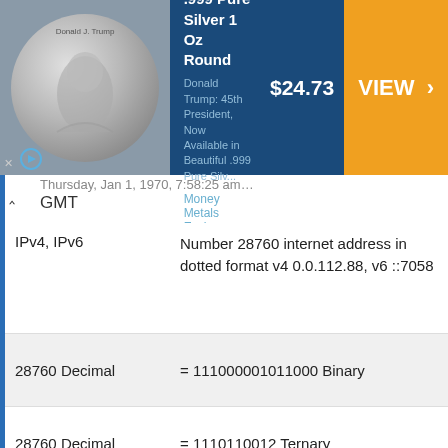[Figure (other): Advertisement banner for President Trump .999 Pure Silver 1 Oz Round coin, priced at $24.73, with a VIEW button, from Money Metals Exchange]
Thursday, Jan 1, 1970, 7:58:25 am GMT
| Property | Value |
| --- | --- |
| IPv4, IPv6 | Number 28760 internet address in dotted format v4 0.0.112.88, v6 ::7058 |
| 28760 Decimal | = 111000001011000 Binary |
| 28760 Decimal | = 1110110012 Ternary |
| 28760 Decimal | = 70130 Octal |
| 28760 Decimal | = 7058 Hexadecimal (0x7058 hex) |